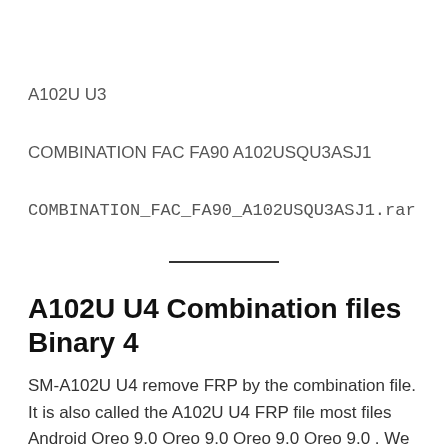A102U U3
COMBINATION FAC FA90 A102USQU3ASJ1
COMBINATION_FAC_FA90_A102USQU3ASJ1.rar
A102U U4 Combination files Binary 4
SM-A102U U4 remove FRP by the combination file. It is also called the A102U U4 FRP file most files Android Oreo 9.0 Oreo 9.0 Oreo 9.0 Oreo 9.0 . We